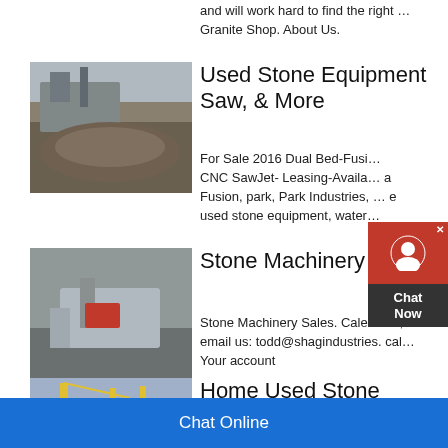and will work hard to find the right … Granite Shop. About Us.
[Figure (photo): Photo of stone crushing/quarry equipment with pile of crushed stone]
Used Stone Equipment Saw, & More
For Sale 2016 Dual Bed-Fusi… CNC SawJet- Leasing-Availa… a Fusion, park, Park Industries, … e used stone equipment, water…
[Figure (photo): Photo of stone machinery with red equipment in a quarry setting]
Stone Machinery Sales
Stone Machinery Sales. Caledonia, email us: todd@shagindustries. cal… Your account
[Figure (photo): Partial photo of home used stone machinery with cranes]
Home Used Stone Mach…
Chat Online